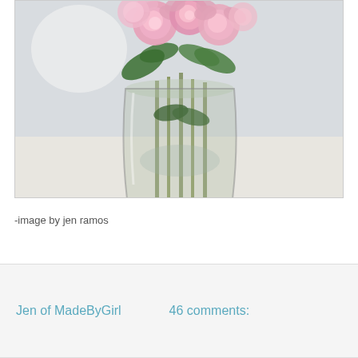[Figure (photo): Photo of pink roses/peonies arranged in a clear glass mason jar vase on a white surface, with green stems and leaves visible through the glass.]
-image by jen ramos
Jen of MadeByGirl    46 comments: